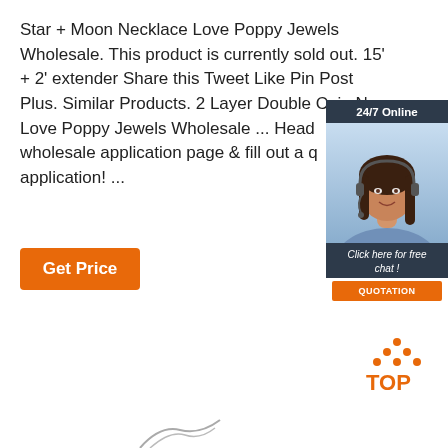Star + Moon Necklace Love Poppy Jewels Wholesale. This product is currently sold out. 15' + 2' extender Share this Tweet Like Pin Post Plus. Similar Products. 2 Layer Double Coin N Love Poppy Jewels Wholesale ... Head wholesale application page & fill out a q application! ...
[Figure (other): Get Price orange button]
[Figure (other): 24/7 Online chat widget with woman wearing headset, 'Click here for free chat!' text, and QUOTATION orange button]
[Figure (logo): TOP logo with orange dots arranged in triangle above orange TOP text]
[Figure (other): Partial image at bottom of page, partially cut off]